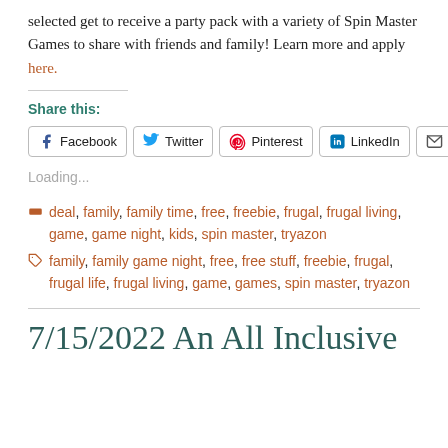selected get to receive a party pack with a variety of Spin Master Games to share with friends and family! Learn more and apply here.
Share this:
Facebook  Twitter  Pinterest  LinkedIn  Email
Loading...
deal, family, family time, free, freebie, frugal, frugal living, game, game night, kids, spin master, tryazon
family, family game night, free, free stuff, freebie, frugal, frugal life, frugal living, game, games, spin master, tryazon
7/15/2022 An All Inclusive